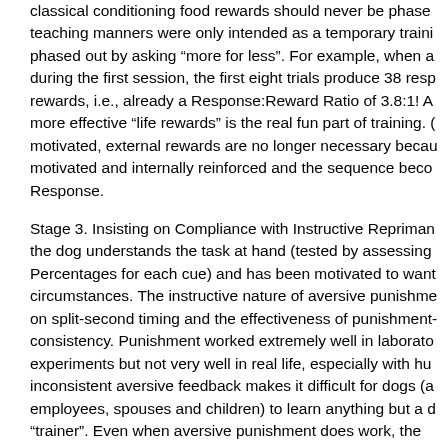classical conditioning food rewards should never be phased out teaching manners were only intended as a temporary training aid phased out by asking "more for less". For example, when a during the first session, the first eight trials produce 38 resp rewards, i.e., already a Response:Reward Ratio of 3.8:1! A more effective "life rewards" is the real fun part of training. motivated, external rewards are no longer necessary beca motivated and internally reinforced and the sequence beco Response.
Stage 3. Insisting on Compliance with Instructive Repriman the dog understands the task at hand (tested by assessing Percentages for each cue) and has been motivated to want circumstances. The instructive nature of aversive punishme on split-second timing and the effectiveness of punishment- consistency. Punishment worked extremely well in laborato experiments but not very well in real life, especially with hu inconsistent aversive feedback makes it difficult for dogs (a employees, spouses and children) to learn anything but a d "trainer". Even when aversive punishment does work, the